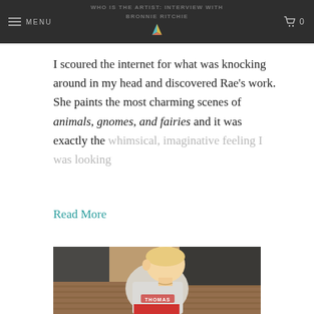WHO IS THE ARTIST: INTERVIEW WITH BRONNIE RITCHIE
I scoured the internet for what was knocking around in my head and discovered Rae's work. She paints the most charming scenes of animals, gnomes, and fairies and it was exactly the whimsical, imaginative feeling I was looking
Read More
[Figure (photo): A young blonde toddler boy wearing a grey Thomas the Tank Engine t-shirt and red shorts, sitting and looking downward, photographed outdoors near wooden decking and dark wicker furniture.]